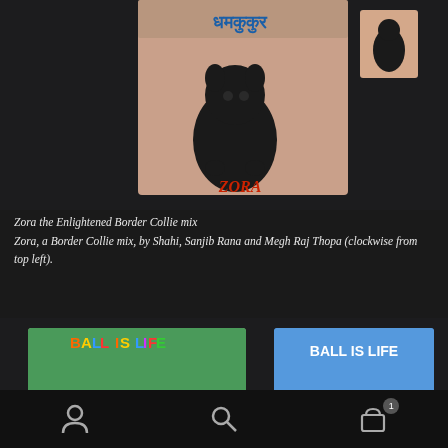[Figure (photo): Photo of hand-painted cards featuring a black dog named Zora, with Devanagari script text at top, pink background, dog seated, name ZORA at bottom. A smaller card visible to the right.]
Zora the Enlightened Border Collie mix
Zora, a Border Collie mix, by Shahi, Sanjib Rana and Megh Raj Thopa (clockwise from top left).
[Figure (photo): Two hand-painted cards side by side, both featuring a black dog lying down with a yellow ball. Left card has colorful text 'BALL IS LIFE' on green background. Right card has bold text 'BALL IS LIFE' on blue background with Devanagari text below reading 'वल नै जिन्दगी'.]
Navigation bar with user icon, search icon, and cart icon with badge 1